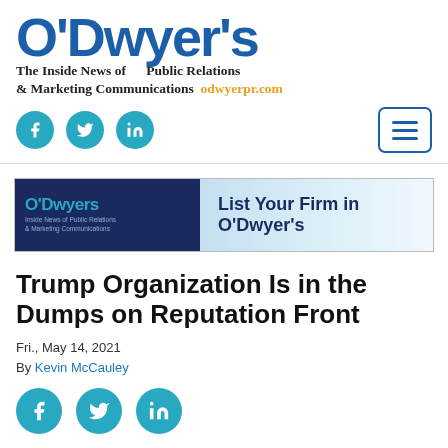O'Dwyer's – The Inside News of Public Relations & Marketing Communications – odwyerpr.com
[Figure (logo): O'Dwyer's logo in blue with tagline 'The Inside News of Public Relations & Marketing Communications' and website odwyerpr.com in orange, plus social media icons (Facebook, Twitter, LinkedIn) and a hamburger menu button]
[Figure (infographic): O'Dwyer's advertisement banner: dark navy left panel with O'Dwyer's logo, right panel with gradient blue background and text 'List Your Firm in O'Dwyer's']
Trump Organization Is in the Dumps on Reputation Front
Fri., May 14, 2021
By Kevin McCauley
[Figure (logo): Social media sharing icons: Facebook, Twitter, LinkedIn – teal/cyan circles with white icons]